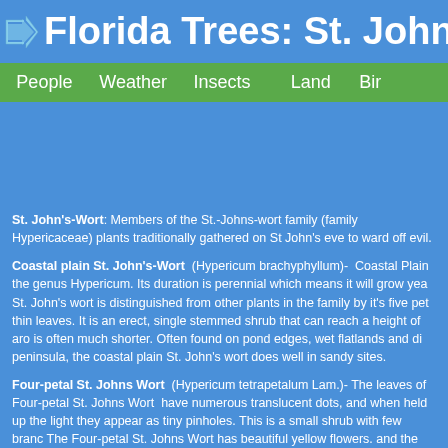Florida Trees: St. John's-Wo...
People  Weather  Insects  Land  Bir...
St. John's-Wort: Members of the St.-Johns-wort family (family Hypericaceae) plants traditionally gathered on St John's eve to ward off evil.
Coastal plain St. John's-Wort (Hypericum brachyphyllum)- Coastal Plain... the genus Hypericum. Its duration is perennial which means it will grow yea... St. John's wort is distinguished from other plants in the family by it's five pet... thin leaves. It is an erect, single stemmed shrub that can reach a height of aro... is often much shorter. Often found on pond edges, wet flatlands and di... peninsula, the coastal plain St. John's wort does well in sandy sites.
Four-petal St. Johns Wort (Hypericum tetrapetalum Lam.)- The leaves of... Four-petal St. Johns Wort have numerous translucent dots, and when held up the light they appear as tiny pinholes. This is a small shrub with few branc... The Four-petal St. Johns Wort has beautiful yellow flowers. and the shrubby... John's... entire...